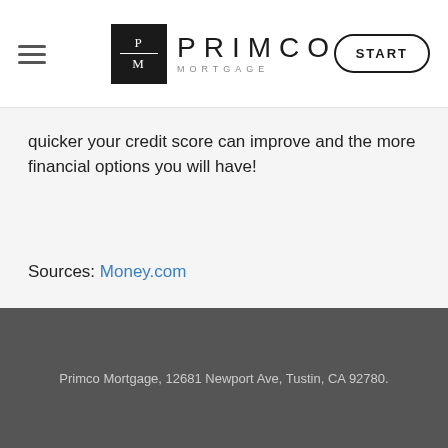PRIMCO MORTGAGE — START
quicker your credit score can improve and the more financial options you will have!
Sources: Money.com
[Figure (other): Tweet button and LinkedIn Share button]
Primco Mortgage, 12681 Newport Ave, Tustin, CA 92780.